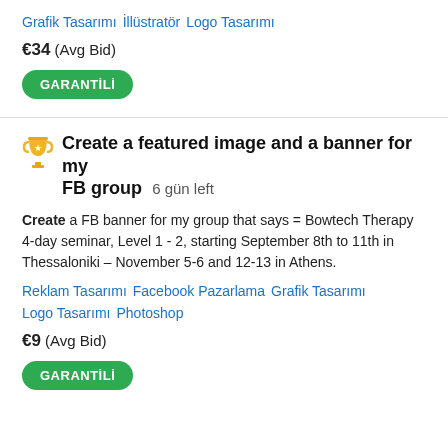Grafik Tasarımı   İllüstratör   Logo Tasarımı
€34  (Avg Bid)
GARANTİLİ
Create a featured image and a banner for my FB group  6 gün left
Create a FB banner for my group that says = Bowtech Therapy 4-day seminar, Level 1 - 2, starting September 8th to 11th in Thessaloniki – November 5-6 and 12-13 in Athens.
Reklam Tasarımı   Facebook Pazarlama   Grafik Tasarımı   Logo Tasarımı   Photoshop
€9  (Avg Bid)
GARANTİLİ